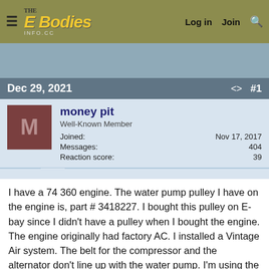The E Bodies Info.cc — Log in  Join  Search
Dec 29, 2021  #1
money pit
Well-Known Member
Joined: Nov 17, 2017
Messages: 404
Reaction score: 39
I have a 74 360 engine. The water pump pulley I have on the engine is, part # 3418227. I bought this pulley on E-bay since I didn't have a pulley when I bought the engine. The engine originally had factory AC. I installed a Vintage Air system. The belt for the compressor and the alternator don't line up with the water pump. I'm using the original crank pulley. I need a water pump pulley that will move the groove of the pulley closer to the engine by about 3/4 in. The current water pump pulley's OD 5 5/8 in. A OD that is larger will hit the crank pulley. Do I need to